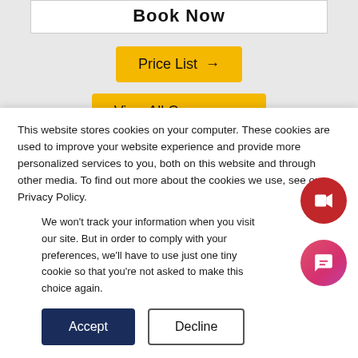Book Now
Price List →
View All Courses →
[Figure (photo): Partial view of a person's face/head, darkened image strip with red border on left and bottom]
This website stores cookies on your computer. These cookies are used to improve your website experience and provide more personalized services to you, both on this website and through other media. To find out more about the cookies we use, see our Privacy Policy.
We won't track your information when you visit our site. But in order to comply with your preferences, we'll have to use just one tiny cookie so that you're not asked to make this choice again.
Accept
Decline